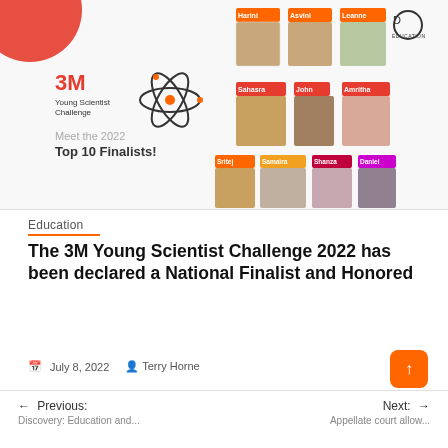[Figure (photo): 3M Young Scientist Challenge 2022 Top 10 Finalists promotional image showing headshots of Harini, Asvini, Leanne (top row), Sahasra, John, Amritha (middle row), Sritej, Samaira, Shanza, Daniel (bottom row) with 3M Young Scientist Challenge logo and Discovery Education logo]
Education
The 3M Young Scientist Challenge 2022 has been declared a National Finalist and Honored
July 8, 2022   Terry Horne
← Previous:   Discovery: Education and...              Next: →   Appellate court allow...